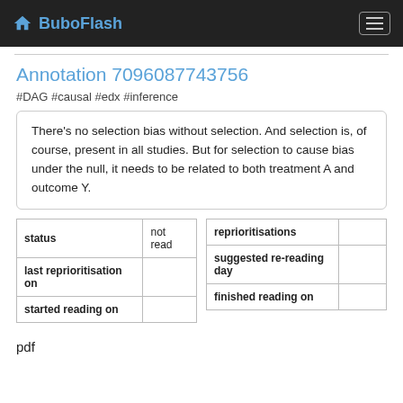BuboFlash
Annotation 7096087743756
#DAG #causal #edx #inference
There's no selection bias without selection. And selection is, of course, present in all studies. But for selection to cause bias under the null, it needs to be related to both treatment A and outcome Y.
| status | not read |
| --- | --- |
| last reprioritisation on |  |
| started reading on |  |
| reprioritisations |  |
| --- | --- |
| suggested re-reading day |  |
| finished reading on |  |
pdf